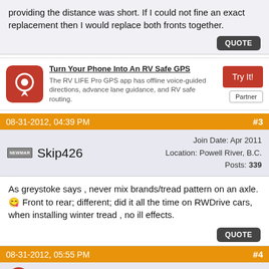providing the distance was short. If I could not fine an exact replacement then I would replace both fronts together.
[Figure (other): QUOTE button (dark rounded rectangle)]
[Figure (infographic): Advertisement: Turn Your Phone Into An RV Safe GPS - RV LIFE Pro GPS app with red icon, Try It! button, Partner label]
08-31-2012, 04:39 PM
#3
Skip426
Join Date: Apr 2011
Location: Powell River, B.C.
Posts: 339
As greystoke says , never mix brands/tread pattern on an axle. Front to rear; different; did it all the time on RWDrive cars, when installing winter tread , no ill effects.
[Figure (other): QUOTE button (dark rounded rectangle)]
08-31-2012, 05:55 PM
#4
Uatomisto
Join Date: Jul 2008